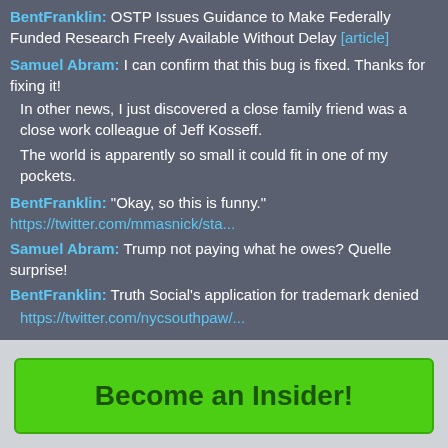BentFranklin: OSTP Issues Guidance to Make Federally Funded Research Freely Available Without Delay [article]
Samuel Abram: I can confirm that this bug is fixed. Thanks for fixing it! In other news, I just discovered a close family friend was a close work colleague of Jeff Kosseff. The world is apparently so small it could fit in one of my pockets.
BentFranklin: "Okay, so this is funny." https://twitter.com/mmasnick/sta...
Samuel Abram: Trump not paying what he owes? Quelle surprise!
BentFranklin: Truth Social's application for trademark denied https://twitter.com/nycsouthpaw/...
Become an Insider!
Recent Stories
Sunday
This site, like most other sites on the web, uses cookies. For more information, see our privacy policy
GOT IT